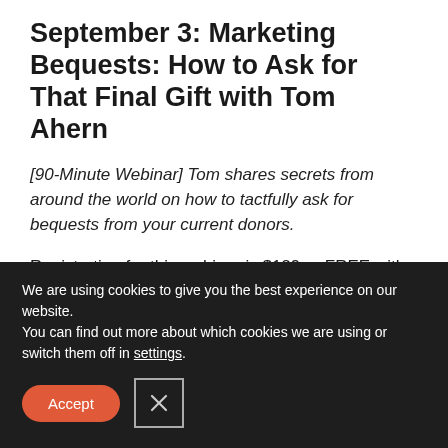September 3: Marketing Bequests: How to Ask for That Final Gift with Tom Ahern
[90-Minute Webinar] Tom shares secrets from around the world on how to tactfully ask for bequests from your current donors.
Registration for this webinar is $129 or FREE with an All-Access Pass
Learn More and Register
We are using cookies to give you the best experience on our website.
You can find out more about which cookies we are using or switch them off in settings.